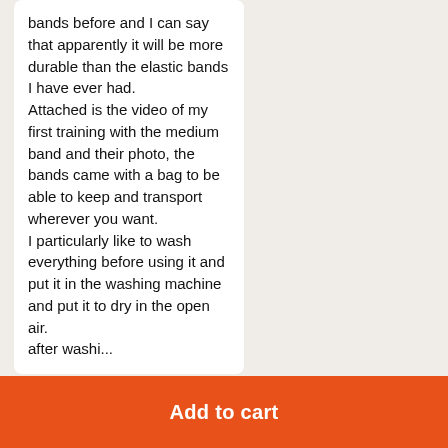bands before and I can say that apparently it will be more durable than the elastic bands I have ever had. Attached is the video of my first training with the medium band and their photo, the bands came with a bag to be able to keep and transport wherever you want. I particularly like to wash everything before using it and put it in the washing machine and put it to dry in the open air. after washi...
Add to cart